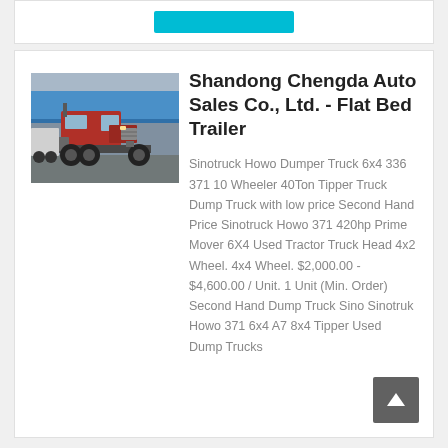[Figure (screenshot): Top bar with a cyan/teal button visible at top of page]
[Figure (photo): Photo of a red Sinotruck Howo tractor truck (rear/side view) parked in a yard with a blue-roofed structure in the background]
Shandong Chengda Auto Sales Co., Ltd. - Flat Bed Trailer
Sinotruck Howo Dumper Truck 6x4 336 371 10 Wheeler 40Ton Tipper Truck Dump Truck with low price Second Hand Price Sinotruck Howo 371 420hp Prime Mover 6X4 Used Tractor Truck Head 4x2 Wheel. 4x4 Wheel. $2,000.00 - $4,600.00 / Unit. 1 Unit (Min. Order) Second Hand Dump Truck Sino Sinotruk Howo 371 6x4 A7 8x4 Tipper Used Dump Trucks